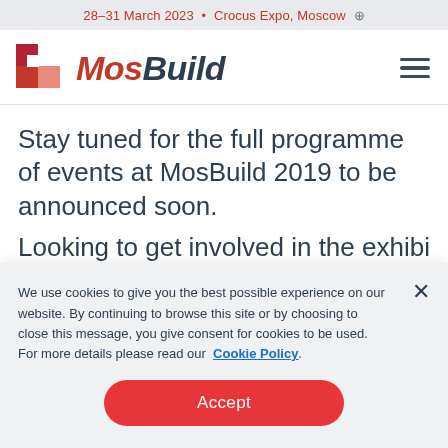28–31 March 2023 • Crocus Expo, Moscow
[Figure (logo): MosBuild logo with red/pink checkered square icon and italic MosBuild text in red and dark blue]
Stay tuned for the full programme of events at MosBuild 2019 to be announced soon.
Looking to get involved in the exhibition?
We use cookies to give you the best possible experience on our website. By continuing to browse this site or by choosing to close this message, you give consent for cookies to be used. For more details please read our Cookie Policy.
Accept